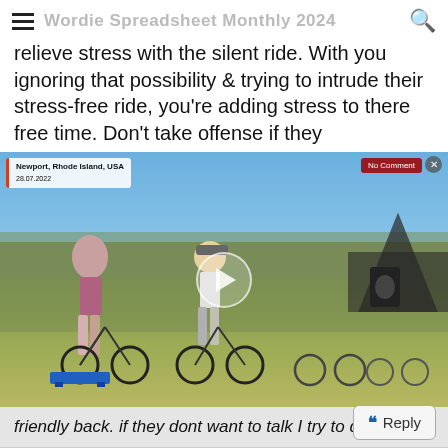≡ [site title] 🔍
relieve stress with the silent ride. With you ignoring that possibility & trying to intrude their stress-free ride, you're adding stress to there free time. Don't take offense if they
[Figure (photo): Video thumbnail of cyclists on stationary bikes at an outdoor event in Newport, Rhode Island, USA (28.07.2022). Multiple people riding bicycles on grass with a crowd in the background. Play button overlay visible. NoComment badge in upper right corner.]
friendly back. if they dont want to talk I try to drop them
How ironic considering the thread topic.
Reply